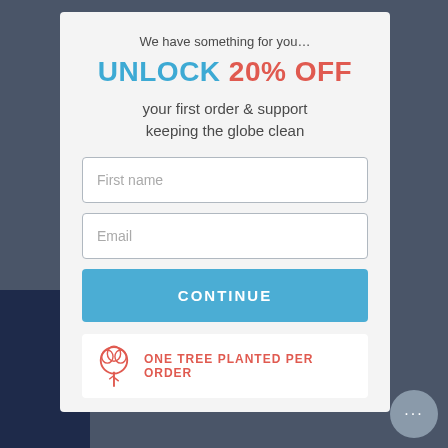We have something for you…
UNLOCK 20% OFF
your first order & support keeping the globe clean
First name
Email
CONTINUE
ONE TREE PLANTED PER ORDER